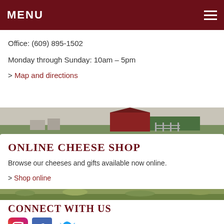MENU
Office: (609) 895-1502
Monday through Sunday: 10am – 5pm
> Map and directions
[Figure (photo): Panoramic farm photo showing red barn buildings and green fields]
ONLINE CHEESE SHOP
Browse our cheeses and gifts available now online.
> Shop online
[Figure (photo): Green grass field photo]
CONNECT WITH US
[Figure (logo): Social media icons: Instagram, Facebook, Twitter]